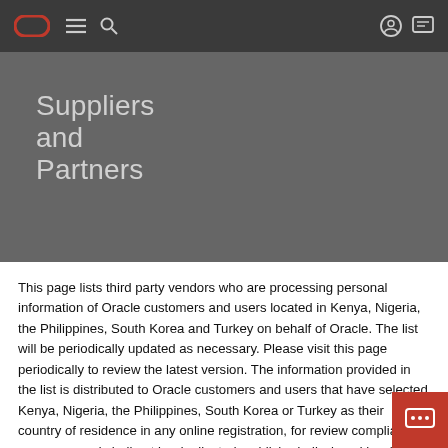Oracle navigation bar with logo, menu, search, account and chat icons
Suppliers and Partners
This page lists third party vendors who are processing personal information of Oracle customers and users located in Kenya, Nigeria, the Philippines, South Korea and Turkey on behalf of Oracle. The list will be periodically updated as necessary. Please visit this page periodically to review the latest version. The information provided in the list is distributed to Oracle customers and users that have selected Kenya, Nigeria, the Philippines, South Korea or Turkey as their country of residence in any online registration, for review compliance purposes, and shall not be duplicated, published, disclosed in whole or part, or used for other purposes, without